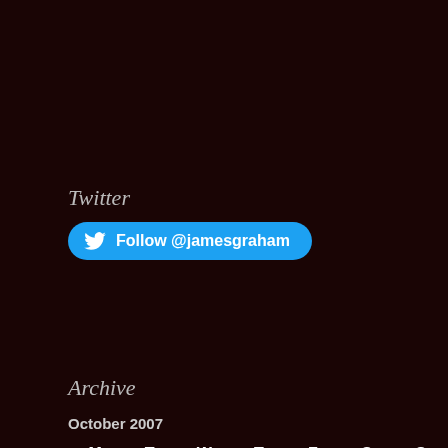Twitter
[Figure (other): Twitter follow button with bird icon: Follow @jamesgraham]
Archive
October 2007
| M | T | W | T | F | S | S |
| --- | --- | --- | --- | --- | --- | --- |
| 1 | 2 | 3 | 4 | 5 | 6 | 7 |
| 8 | 9 | 10 | 11 | 12 | 13 | 14 |
| 15 | 16 | 17 | 18 | 19 | 20 | 21 |
| 22 | 23 | 24 | 25 | 26 | 27 | 28 |
| 29 | 30 | 31 |  |  |  |  |